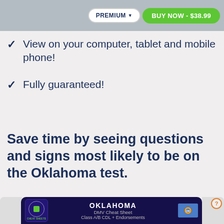PREMIUM ▼  BUY NOW - $38.99
View on your computer, tablet and mobile phone!
Fully guaranteed!
Save time by seeing questions and signs most likely to be on the Oklahoma test.
[Figure (screenshot): Oklahoma DMV Cheat Sheet card showing Driver's License Cheat Sheets logo, OKLAHOMA title, DMV Cheat Sheet subtitle, Class A/B CDL + Endorsements text, and Oklahoma state flag]